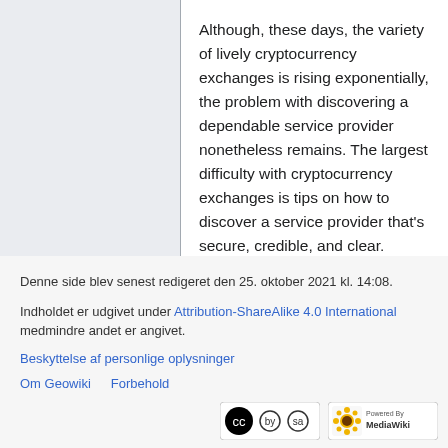Although, these days, the variety of lively cryptocurrency exchanges is rising exponentially, the problem with discovering a dependable service provider nonetheless remains. The largest difficulty with cryptocurrency exchanges is tips on how to discover a service provider that's secure, credible, and clear.
Denne side blev senest redigeret den 25. oktober 2021 kl. 14:08.
Indholdet er udgivet under Attribution-ShareAlike 4.0 International medmindre andet er angivet.
Beskyttelse af personlige oplysninger
Om Geowiki   Forbehold